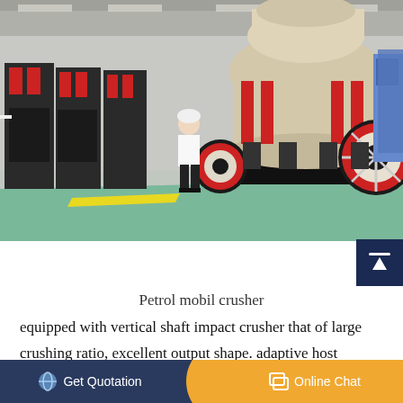[Figure (photo): Factory floor photo showing large industrial cone crushers and jaw crushers on black steel frames with red hydraulic cylinders. A worker in white shirt, hard hat and black pants stands in the foreground. Green and yellow striped floor markings visible.]
Petrol mobil crusher
equipped with vertical shaft impact crusher that of large crushing ratio, excellent output shape. adaptive host switching equipment, to meet the personalized needs of customers. easy and flexible to